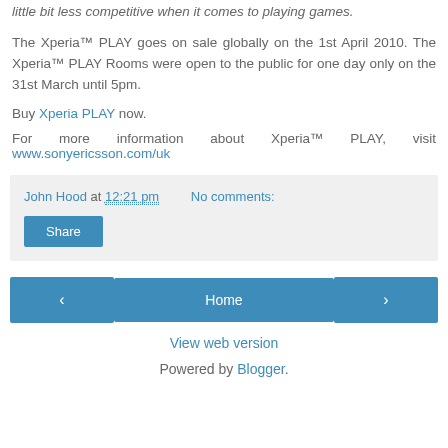little bit less competitive when it comes to playing games.
The Xperia™ PLAY goes on sale globally on the 1st April 2010. The Xperia™ PLAY Rooms were open to the public for one day only on the 31st March until 5pm.
Buy Xperia PLAY now.
For more information about Xperia™ PLAY, visit www.sonyericsson.com/uk
John Hood at 12:21 pm    No comments:
Share
Home
View web version
Powered by Blogger.